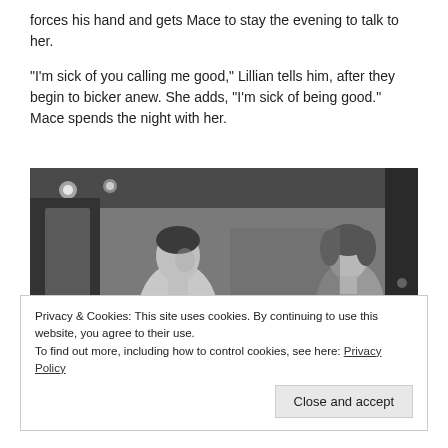forces his hand and gets Mace to stay the evening to talk to her.
“I’m sick of you calling me good,” Lillian tells him, after they begin to bicker anew. She adds, “I’m sick of being good.” Mace spends the night with her.
[Figure (photo): Black and white film still showing a shirtless man and a woman facing each other in a dimly lit interior scene.]
Privacy & Cookies: This site uses cookies. By continuing to use this website, you agree to their use.
To find out more, including how to control cookies, see here: Privacy Policy
Close and accept